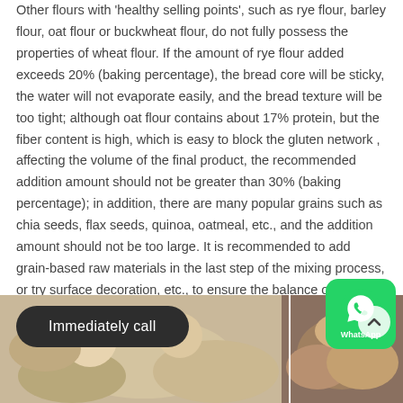Other flours with 'healthy selling points', such as rye flour, barley flour, oat flour or buckwheat flour, do not fully possess the properties of wheat flour. If the amount of rye flour added exceeds 20% (baking percentage), the bread core will be sticky, the water will not evaporate easily, and the bread texture will be too tight; although oat flour contains about 17% protein, but the fiber content is high, which is easy to block the gluten network , affecting the volume of the final product, the recommended addition amount should not be greater than 30% (baking percentage); in addition, there are many popular grains such as chia seeds, flax seeds, quinoa, oatmeal, etc., and the addition amount should not be too large. It is recommended to add grain-based raw materials in the last step of the mixing process, or try surface decoration, etc., to ensure the balance of the product formula and also have healthy attributes.
[Figure (photo): Two food photos side by side: left shows bread/wheat products with grains, right shows pastries/croissants being handled]
[Figure (other): WhatsApp contact button (green rounded square with WhatsApp icon and text)]
[Figure (other): Dark pill-shaped button with text 'Immediately call']